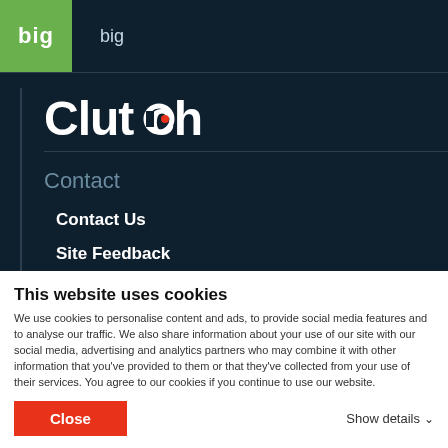[Figure (logo): Green rounded square with white text 'big']
big
[Figure (logo): Clutch logo with stylized C containing red dot]
Contact
Contact Us
Site Feedback
This website uses cookies
We use cookies to personalise content and ads, to provide social media features and to analyse our traffic. We also share information about your use of our site with our social media, advertising and analytics partners who may combine it with other information that you've provided to them or that they've collected from your use of their services. You agree to our cookies if you continue to use our website.
Close
Show details